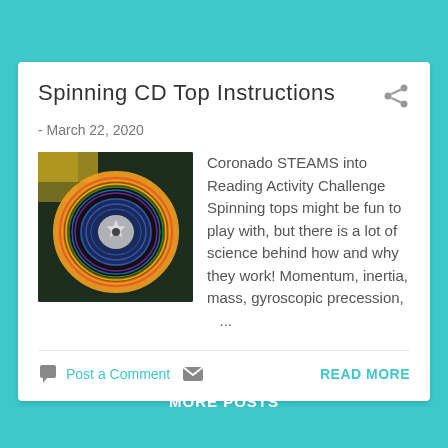Spinning CD Top Instructions
- March 22, 2020
[Figure (photo): Photo of a spinning CD top craft with rainbow holographic surface and a star in the center on a dark background]
Coronado STEAMS into Reading Activity Challenge Spinning tops might be fun to play with, but there is a lot of science behind how and why they work! Momentum, inertia, mass, gyroscopic precession, ...
Post a Comment
READ MORE
MORE POSTS